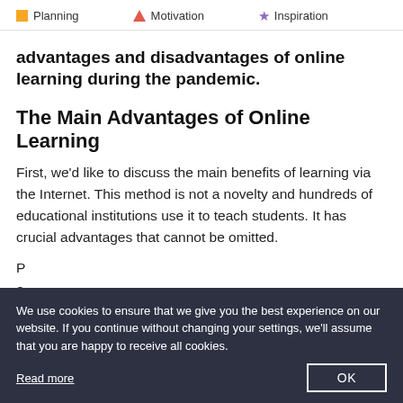Planning  Motivation  Inspiration
advantages and disadvantages of online learning during the pandemic.
The Main Advantages of Online Learning
First, we'd like to discuss the main benefits of learning via the Internet. This method is not a novelty and hundreds of educational institutions use it to teach students. It has crucial advantages that cannot be omitted.
We use cookies to ensure that we give you the best experience on our website. If you continue without changing your settings, we'll assume that you are happy to receive all cookies.
Read more
OK